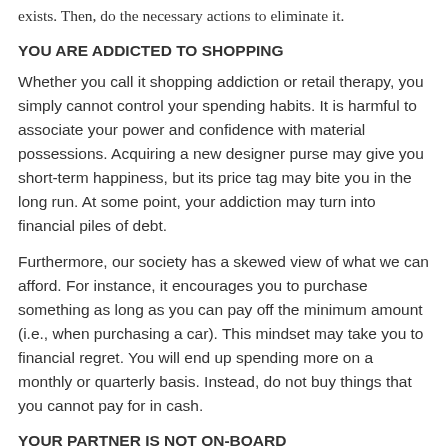exists. Then, do the necessary actions to eliminate it.
YOU ARE ADDICTED TO SHOPPING
Whether you call it shopping addiction or retail therapy, you simply cannot control your spending habits. It is harmful to associate your power and confidence with material possessions. Acquiring a new designer purse may give you short-term happiness, but its price tag may bite you in the long run. At some point, your addiction may turn into financial piles of debt.
Furthermore, our society has a skewed view of what we can afford. For instance, it encourages you to purchase something as long as you can pay off the minimum amount (i.e., when purchasing a car). This mindset may take you to financial regret. You will end up spending more on a monthly or quarterly basis. Instead, do not buy things that you cannot pay for in cash.
YOUR PARTNER IS NOT ON-BOARD